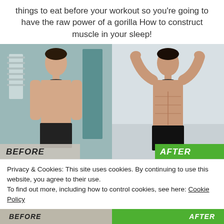things to eat before your workout so you're going to have the raw power of a gorilla How to construct muscle in your sleep!
[Figure (photo): Before and after body transformation photos side by side. Left shows a lean but less muscular young man (BEFORE), right shows the same person with visible abs and muscle definition (AFTER). Green AFTER label in bottom right, grey BEFORE label in bottom left.]
Privacy & Cookies: This site uses cookies. By continuing to use this website, you agree to their use.
To find out more, including how to control cookies, see here: Cookie Policy
Close and accept
BEFORE   AFTER